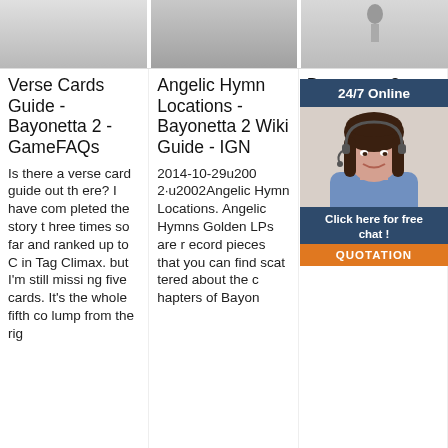[Figure (photo): Three thumbnail images of gaming guides arranged in a row — grey/silver toned images]
Verse Cards Guide - Bayonetta 2 - GameFAQs
Is there a verse card guide out there? I have completed the story three times so far and ranked up to C in Tag Climax. but I'm still missing five cards. It's the whole fifth co lump from the rig
Angelic Hymn Locations - Bayonetta 2 Wiki Guide - IGN
2014-10-29u2002·u2002Angelic Hymn Locations. Angelic Hymns Golden LPs are record pieces that you can find scattered about the chapters of Bayon
Bayonetta 2 EGuide
The yon mes pon Sec es l ecre Vers ck Money-Raising: The One Million Halo Run Secret Boss Battle: Rodin. The Infinite
[Figure (screenshot): Live chat widget overlay showing '24/7 Online', a female agent with headset, 'Click here for free chat!' text, and QUOTATION button]
[Figure (logo): TOP logo in orange and red colors]